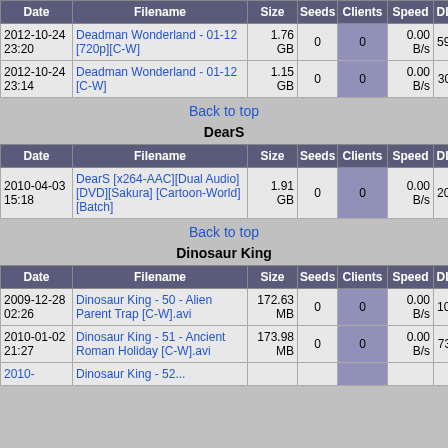| Date | Filename | Size | Seeds | Clients | Speed | DL | Xfer'd |
| --- | --- | --- | --- | --- | --- | --- | --- |
| 2012-10-24 23:20 | Deadman Wonderland - 01-12 [720p][C-W] | 1.76 GB | 0 | 0 | 0.00 B/s | 591 | 2.52 TB |
| 2012-10-24 23:14 | Deadman Wonderland - 01-12 [C-W] | 1.15 GB | 0 | 0 | 0.00 B/s | 30 | 236.70 GB |
Back to top
DearS
| Date | Filename | Size | Seeds | Clients | Speed | DL | Xfer'd |
| --- | --- | --- | --- | --- | --- | --- | --- |
| 2010-04-03 15:18 | DearS [x264-AAC][Dual Audio][DVD][Sakura][Cartoon-World][Batch] | 1.91 GB | 0 | 0 | 0.00 B/s | 202 | 7.75 TB |
Back to top
Dinosaur King
| Date | Filename | Size | Seeds | Clients | Speed | DL | Xfer'd |
| --- | --- | --- | --- | --- | --- | --- | --- |
| 2009-12-28 02:26 | Dinosaur King - 50 - Alien Parent Trap [C-W].avi | 172.63 MB | 0 | 0 | 0.00 B/s | 101 | 114.45 GB |
| 2010-01-02 21:27 | Dinosaur King - 51 - Ancient Roman Holiday [C-W].avi | 173.98 MB | 0 | 0 | 0.00 B/s | 73 | 134.75 GB |
| 2010- | Dinosaur King - 52... |  |  |  |  |  |  |